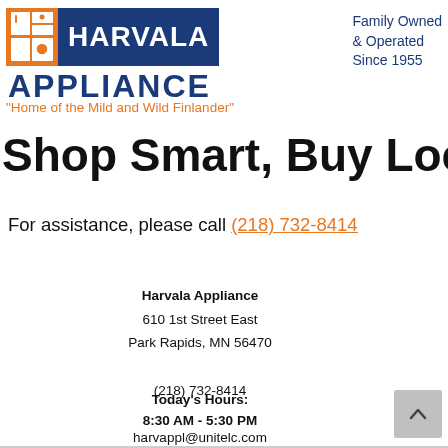[Figure (logo): Harvala Appliance logo with orange icon square, blue HARVALA text bar, and blue APPLIANCE text below]
Family Owned & Operated Since 1955
"Home of the Mild and Wild Finlander"
Shop Smart, Buy Local.
For assistance, please call (218) 732-8414
Harvala Appliance
610 1st Street East
Park Rapids, MN 56470

(218) 732-8414

harvappl@unitelc.com
Today's Hours:
8:30 AM - 5:30 PM